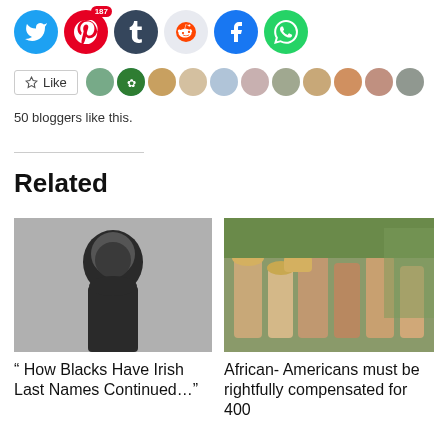[Figure (other): Social sharing icon buttons: Twitter, Pinterest (187), Tumblr, Reddit, Facebook, WhatsApp]
[Figure (other): Like button and strip of blogger avatar thumbnails]
50 bloggers like this.
Related
[Figure (photo): Black and white photo of a young man with an afro smiling]
“ How Blacks Have Irish Last Names Continued…”
[Figure (photo): Color film still showing a group of African-American people standing in a field]
African- Americans must be rightfully compensated for 400